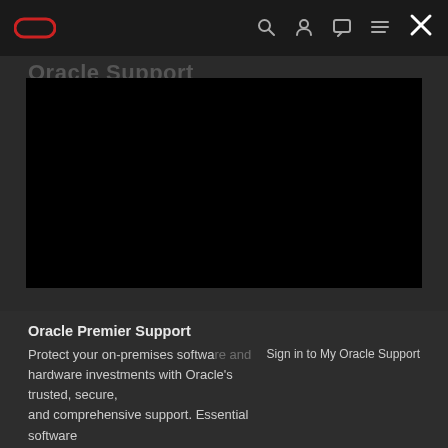Oracle logo and navigation bar with search, account, chat, menu, and close (X) icons
[Figure (screenshot): Dark video player area showing a black screen, embedded in the Oracle website page. A faded background title 'Oracle Support' is visible behind the player.]
Oracle Premier Support
Protect your on-premises software and hardware investments with Oracle's trusted, secure, and comprehensive support. Essential software updates and new releases, proactive support tools
Sign in to My Oracle Support